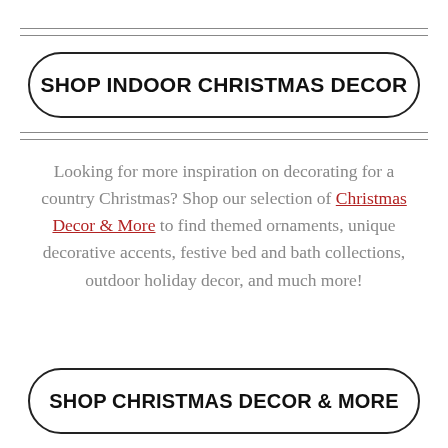SHOP INDOOR CHRISTMAS DECOR
Looking for more inspiration on decorating for a country Christmas? Shop our selection of Christmas Decor & More to find themed ornaments, unique decorative accents, festive bed and bath collections, outdoor holiday decor, and much more!
SHOP CHRISTMAS DECOR & MORE